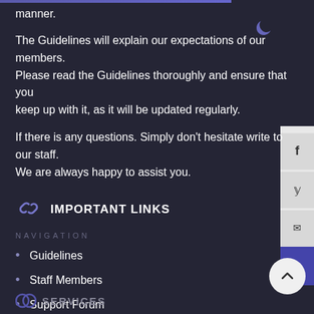manner.
The Guidelines will explain our expectations of our members. Please read the Guidelines thoroughly and ensure that you keep up with it, as it will be updated regularly.
If there is any questions. Simply don't hesitate write to our staff. We are always happy to assist you.
IMPORTANT LINKS
NAVIGATION
Guidelines
Staff Members
Support Forum
Contact Us